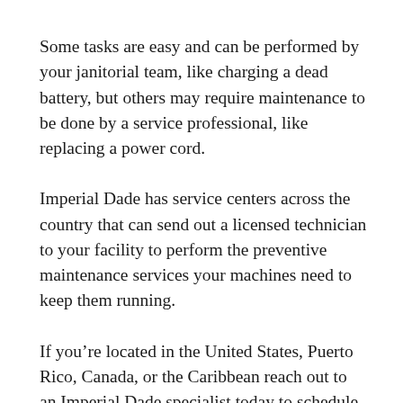Some tasks are easy and can be performed by your janitorial team, like charging a dead battery, but others may require maintenance to be done by a service professional, like replacing a power cord.
Imperial Dade has service centers across the country that can send out a licensed technician to your facility to perform the preventive maintenance services your machines need to keep them running.
If you're located in the United States, Puerto Rico, Canada, or the Caribbean reach out to an Imperial Dade specialist today to schedule